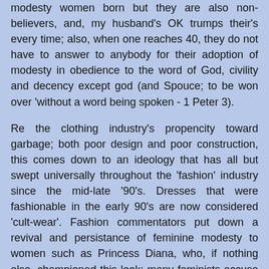modesty women born but they are also non-believers, and, my husband's OK trumps their's every time; also, when one reaches 40, they do not have to answer to anybody for their adoption of modesty in obedience to the word of God, civility and decency except god (and Spouce; to be won over 'without a word being spoken - 1 Peter 3).
Re the clothing industry's propencity toward garbage; both poor design and poor construction, this comes down to an ideology that has all but swept universally throughout the 'fashion' industry since the mid-late '90's. Dresses that were fashionable in the early 90's are now considered 'cult-wear'. Fashion commentators put down a revival and persistance of feminine modesty to women such as Princess Diana, who, if nothing else, championed this look; many feminists accuse her even now of setting back the de-femininising of womens' clothing 20 years...
With women designing for men, and homosexual men designing for women, clothing has been turned upon its head with the masculinising of womens' wear and the feminising of mens' wear. there is also a push to irradicate the dress and skirt from a woman's wardrobe; the feminist